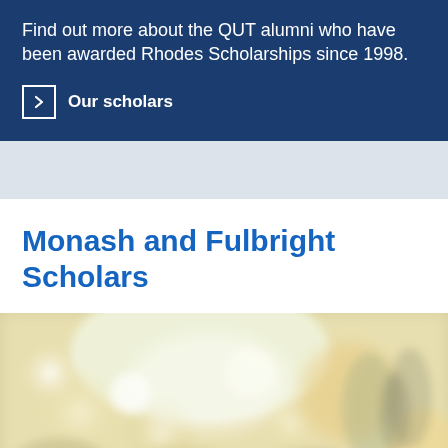Find out more about the QUT alumni who have been awarded Rhodes Scholarships since 1998.
Our scholars
Monash and Fulbright Scholars
[Figure (photo): Blurred photo of a crowd of people at an indoor event or gathering, with warm bokeh lighting effects and some silhouetted figures in the background.]